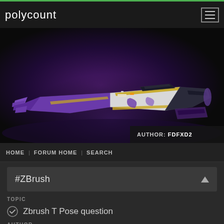polycount
[Figure (illustration): 3D rendered sci-fi spacecraft/hovercraft with purple and gold/yellow color scheme on dark purple background. Label: AUTHOR: FDFXD2]
HOME | FORUM HOME | SEARCH
#ZBrush
TOPIC
Zbrush T Pose question
AUTHOR